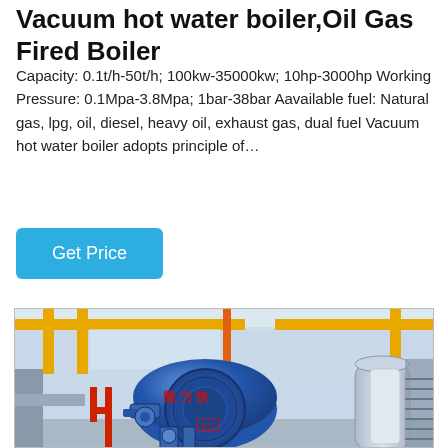Vacuum hot water boiler,Oil Gas Fired Boiler
Capacity: 0.1t/h-50t/h; 100kw-35000kw; 10hp-3000hp Working Pressure: 0.1Mpa-3.8Mpa; 1bar-38bar Aavailable fuel: Natural gas, lpg, oil, diesel, heavy oil, exhaust gas, dual fuel Vacuum hot water boiler adopts principle of…
Get Price
[Figure (photo): Industrial boiler facility interior showing a large blue cylindrical vacuum hot water boiler with Chinese text markings, yellow structural beams overhead, orange and red pipes, and gray tanks in background with staircase on right side.]